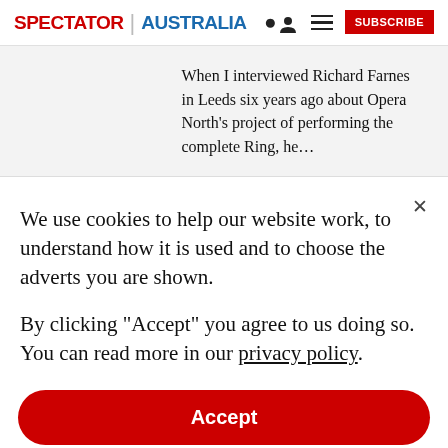SPECTATOR | AUSTRALIA
When I interviewed Richard Farnes in Leeds six years ago about Opera North's project of performing the complete Ring, he…
We use cookies to help our website work, to understand how it is used and to choose the adverts you are shown.
By clicking "Accept" you agree to us doing so. You can read more in our privacy policy.
Accept